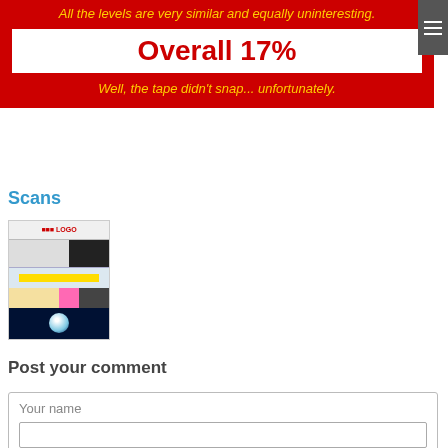All the levels are very similar and equally uninteresting.
Overall 17%
Well, the tape didn't snap... unfortunately.
Scans
[Figure (screenshot): A small scan thumbnail showing a magazine or webpage layout with red banner, images, yellow bar, pink bar, and a dark soccer ball section.]
Post your comment
Your name